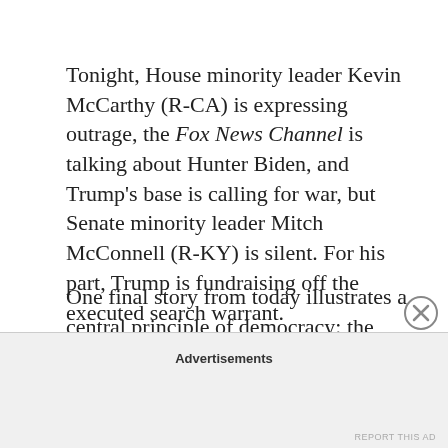Tonight, House minority leader Kevin McCarthy (R-CA) is expressing outrage, the Fox News Channel is talking about Hunter Biden, and Trump's base is calling for war, but Senate minority leader Mitch McConnell (R-KY) is silent. For his part, Trump is fundraising off the executed search warrant.
One final story from today illustrates a central principle of democracy: the principle of accountability.
Today, U.S. District Judge Lisa Godbey Wood
Advertisements